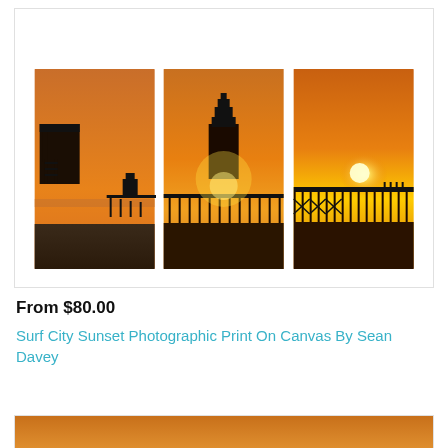[Figure (photo): Triptych canvas art showing Surf City sunset with beach pier and lifeguard tower silhouetted against orange sky, split across three panels]
From $80.00
Surf City Sunset Photographic Print On Canvas By Sean Davey
[Figure (photo): Partial view of another product image showing orange sunset tones, cropped at bottom of page]